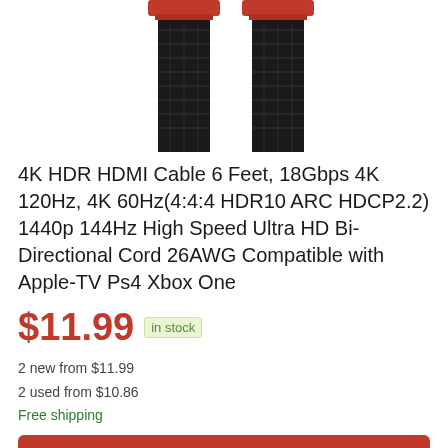[Figure (photo): Two black braided HDMI cables with red connectors at the top, shown side by side on white background, cropped at top of image.]
4K HDR HDMI Cable 6 Feet, 18Gbps 4K 120Hz, 4K 60Hz(4:4:4 HDR10 ARC HDCP2.2) 1440p 144Hz High Speed Ultra HD Bi-Directional Cord 26AWG Compatible with Apple-TV Ps4 Xbox One
$11.99  in stock
2 new from $11.99
2 used from $10.86
Free shipping
BUY NOW